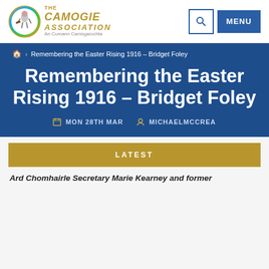[Figure (logo): The Camogie Association logo with circular emblem and gold italic text reading THE CAMOGIE ASSOCIATION An Cumann Camógaíochta]
MENU
Remembering the Easter Rising 1916 – Bridget Foley
Remembering the Easter Rising 1916 – Bridget Foley
MON 28TH MAR   MICHAELMCCREA
LATEST
Ard Chomhairle Secretary Marie Kearney and former